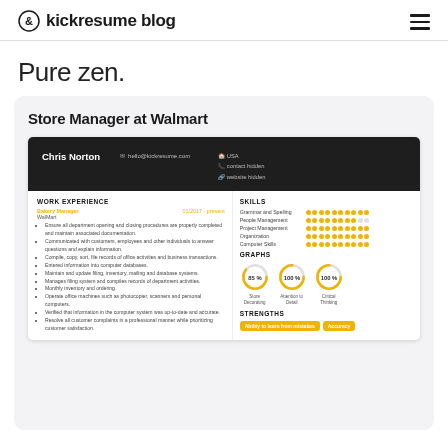kickresume blog
Pure zen.
Store Manager at Walmart
[Figure (screenshot): A resume preview for Chris Norton, Store Manager at Walmart, showing work experience, skills with dot ratings, circular graphs (Store Decorating 85%, Attention to Detail 100%, Critical Thinking 100%), and strengths tags including Ability to learn from mistakes and Accuracy.]